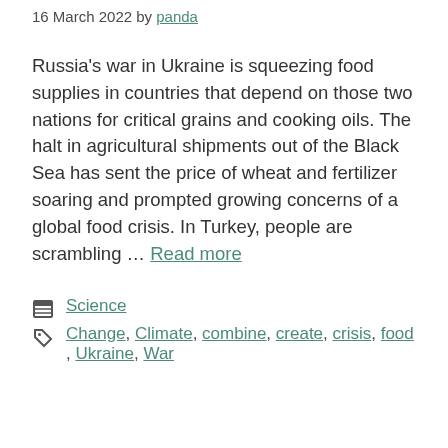16 March 2022 by panda
Russia's war in Ukraine is squeezing food supplies in countries that depend on those two nations for critical grains and cooking oils. The halt in agricultural shipments out of the Black Sea has sent the price of wheat and fertilizer soaring and prompted growing concerns of a global food crisis. In Turkey, people are scrambling … Read more
Categories: Science
Tags: Change, Climate, combine, create, crisis, food, Ukraine, War